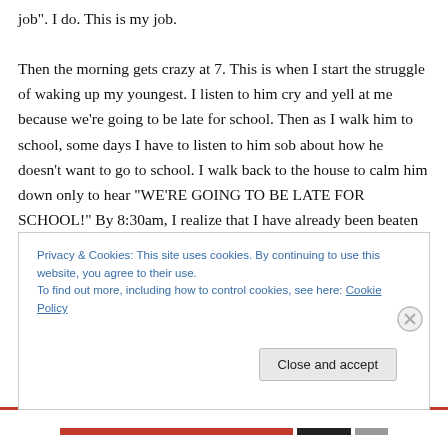job". I do. This is my job.

Then the morning gets crazy at 7. This is when I start the struggle of waking up my youngest. I listen to him cry and yell at me because we’re going to be late for school. Then as I walk him to school, some days I have to listen to him sob about how he doesn’t want to go to school. I walk back to the house to calm him down only to hear “WE’RE GOING TO BE LATE FOR SCHOOL!” By 8:30am, I realize that I have already been beaten down by failure for the day. It takes the rest of the day to work my way up from
Privacy & Cookies: This site uses cookies. By continuing to use this website, you agree to their use.
To find out more, including how to control cookies, see here: Cookie Policy